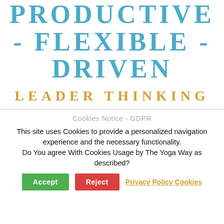PRODUCTIVE - FLEXIBLE - DRIVEN
LEADER THINKING
Cookies Notice - GDPR
This site uses Cookies to provide a personalized navigation experience and the necessary functionality.
Do You agree With Cookies Usage by The Yoga Way as described?
Accept  Reject  Privacy Policy Cookies